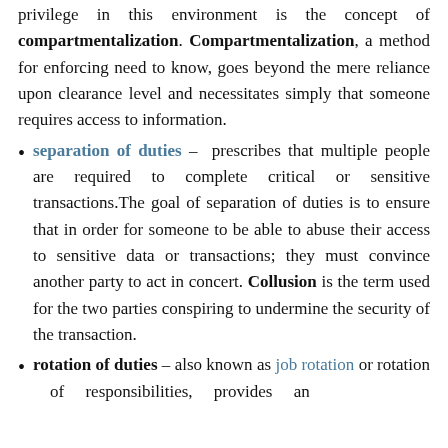privilege in this environment is the concept of compartmentalization. Compartmentalization, a method for enforcing need to know, goes beyond the mere reliance upon clearance level and necessitates simply that someone requires access to information.
separation of duties – prescribes that multiple people are required to complete critical or sensitive transactions. The goal of separation of duties is to ensure that in order for someone to be able to abuse their access to sensitive data or transactions; they must convince another party to act in concert. Collusion is the term used for the two parties conspiring to undermine the security of the transaction.
rotation of duties – also known as job rotation or rotation of responsibilities, provides an